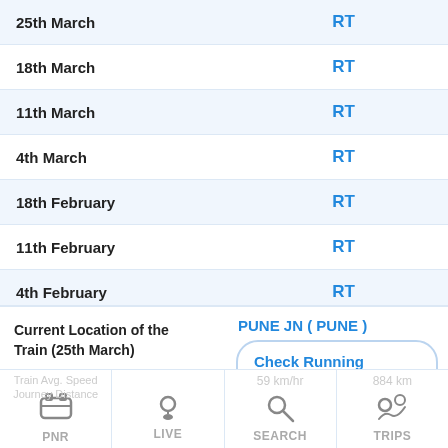| Date | Status |
| --- | --- |
| 25th March | RT |
| 18th March | RT |
| 11th March | RT |
| 4th March | RT |
| 18th February | RT |
| 11th February | RT |
| 4th February | RT |
| 28th January | RT |
| Current Location of the Train (25th March) | Location/Action |
| --- | --- |
| Current Location of the Train (25th March) | PUNE JN ( PUNE ) | Check Running Status |
PNR | LIVE | SEARCH | TRIPS